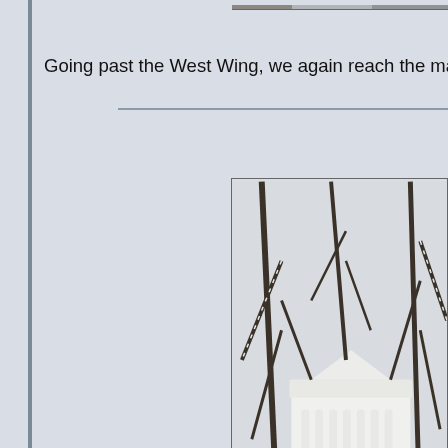[Figure (photo): Partial view of a photo strip at the very top of the page, cut off, showing an outdoor scene.]
Going past the West Wing, we again reach the main build
[Figure (photo): Winter photograph of the White House main building, showing white columns and portico through bare snow-covered trees, snow on the ground.]
The major feature on this side of the White House is the N administration of Andrew Jackson, other
[Figure (photo): Bottom partial photo showing bare winter trees, beginning of another White House exterior photograph.]